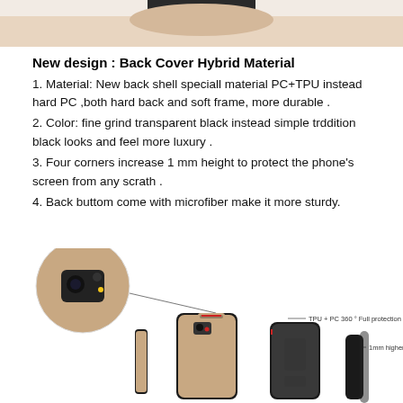[Figure (photo): Partial top image of a phone case or hand, cropped at top of page]
New design : Back Cover Hybrid Material
1. Material: New back shell speciall material PC+TPU instead hard PC ,both hard back and soft frame, more durable .
2. Color: fine grind transparent black instead simple trddition black looks and feel more luxury .
3. Four corners increase 1 mm height to protect the phone's screen from any scrath .
4. Back buttom come with microfiber make it more sturdy.
[Figure (photo): Product diagram showing phone cases from multiple angles with labels: TPU + PC 360 ° Full protection, 1mm higher than the screen]